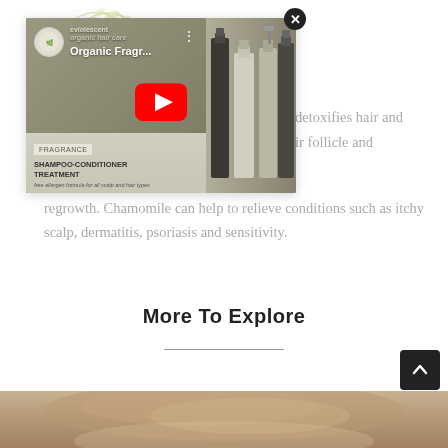[Figure (screenshot): YouTube video thumbnail showing 'Organic Fragr...' video with play button, logo circle for 'eviolescent', shampoo/conditioner/treatment product bottles on right, and a close (x) button at top right corner of modal.]
detoxifies hair and ir follicle and regrowth. Chamomile can help to relieve conditions such as itchy scalp, dermatitis, psoriasis and sensitivity.
More To Explore
[Figure (photo): Partial photo of a person's hair/head visible at the bottom of the page.]